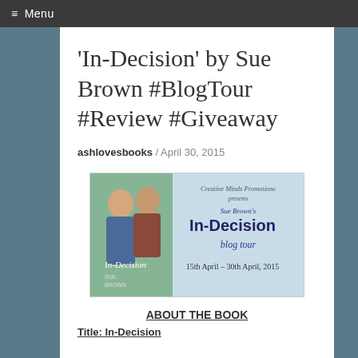≡ Menu
'In-Decision' by Sue Brown #BlogTour #Review #Giveaway
ashlovesbooks / April 30, 2015
[Figure (photo): Blog tour banner for 'In-Decision' by Sue Brown, Creative Minds Promotions presents, blog tour 15th April – 30th April, 2015, with book cover image showing two men]
ABOUT THE BOOK
Title: In-Decision